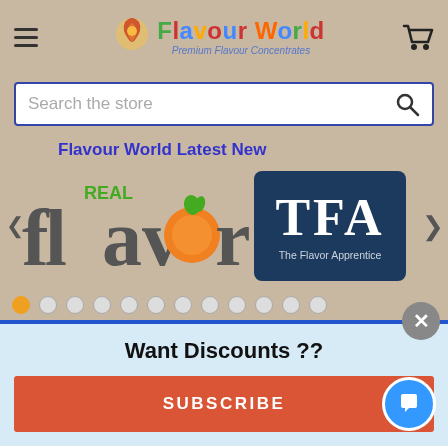[Figure (screenshot): Flavour World website header with hamburger menu, logo with colorful brand name, and shopping cart icon on a tan/beige background]
[Figure (screenshot): Search bar with 'Search the store' placeholder and magnifying glass icon, bordered in blue]
[Figure (screenshot): Carousel banner showing 'Flavour World Latest Ne...' title, Real Flavors logo with orange peach, TFA The Flavor Apprentice dark blue logo panel, navigation arrows and dot indicators]
Want Discounts ??
SUBSCRIBE